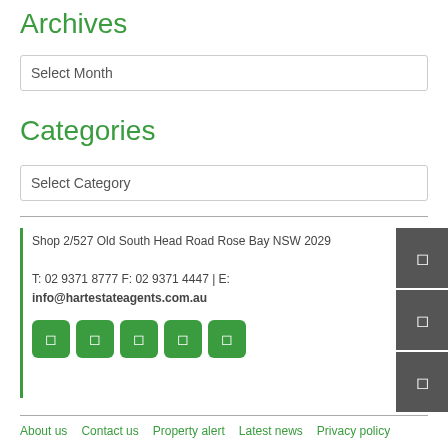Archives
Select Month
Categories
Select Category
Shop 2/527 Old South Head Road Rose Bay NSW 2029
T: 02 9371 8777 F: 02 9371 4447 | E: info@hartestateagents.com.au
About us   Contact us   Property alert   Latest news   Privacy policy